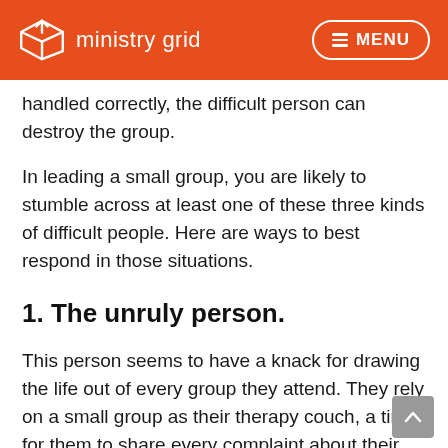ministry grid  MENU
handled correctly, the difficult person can destroy the group.
In leading a small group, you are likely to stumble across at least one of these three kinds of difficult people. Here are ways to best respond in those situations.
1. The unruly person.
This person seems to have a knack for drawing the life out of every group they attend. They rely on a small group as their therapy couch, a time for them to share every complaint about their life week after week without any sign of improvement. Here